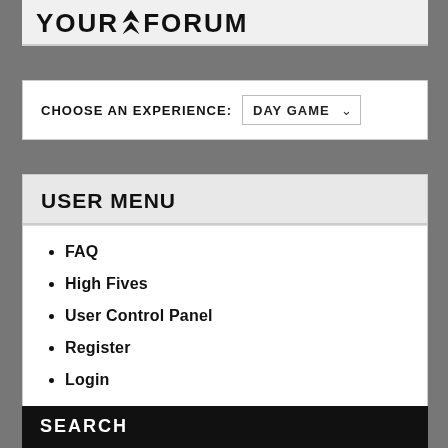YOUR FORUM
CHOOSE AN EXPERIENCE: DAY GAME
USER MENU
FAQ
High Fives
User Control Panel
Register
Login
SEARCH